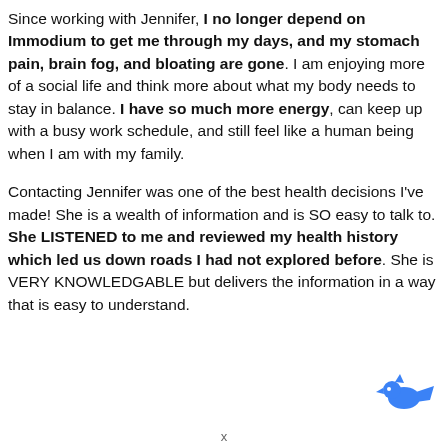Since working with Jennifer, I no longer depend on Immodium to get me through my days, and my stomach pain, brain fog, and bloating are gone. I am enjoying more of a social life and think more about what my body needs to stay in balance. I have so much more energy, can keep up with a busy work schedule, and still feel like a human being when I am with my family.
Contacting Jennifer was one of the best health decisions I've made! She is a wealth of information and is SO easy to talk to. She LISTENED to me and reviewed my health history which led us down roads I had not explored before. She is VERY KNOWLEDGABLE but delivers the information in a way that is easy to understand.
[Figure (logo): Blue bird or animal logo icon in bottom right corner]